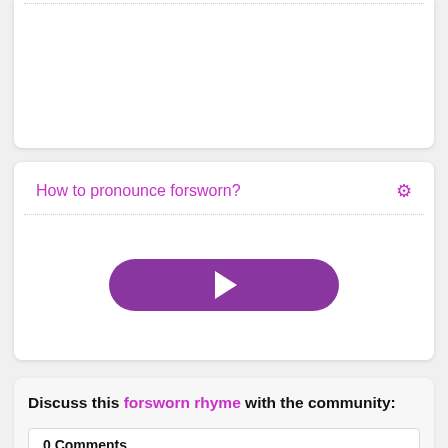How to pronounce forsworn?
[Figure (other): Purple play button for audio pronunciation]
Discuss this forsworn rhyme with the community:
0 Comments